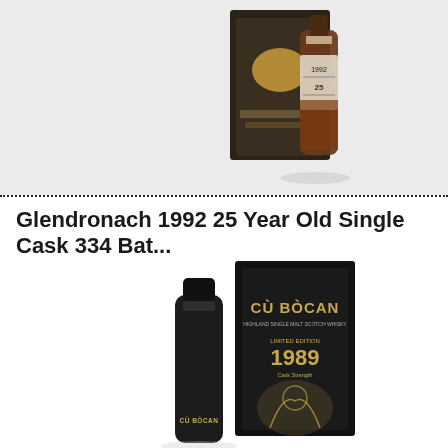[Figure (photo): Photo of Glendronach 1992 25 Year Old Single Cask 334 whisky bottle with dark box packaging against light background]
Glendronach 1992 25 Year Old Single Cask 334 Bat...
70cl
One of the stars of the 16th batch of single cask Glendronach releases. This was matured for 25 year..
MORE INFO
€334.95
[Figure (photo): Photo of Cù Bòcan Limited Edition 1989 Cask Strength Highland Single Malt Scotch Whisky bottle with black box packaging featuring gold wolf illustration]